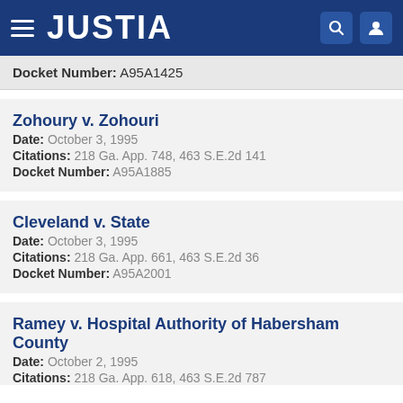JUSTIA
Docket Number: A95A1425
Zohoury v. Zohouri
Date: October 3, 1995
Citations: 218 Ga. App. 748, 463 S.E.2d 141
Docket Number: A95A1885
Cleveland v. State
Date: October 3, 1995
Citations: 218 Ga. App. 661, 463 S.E.2d 36
Docket Number: A95A2001
Ramey v. Hospital Authority of Habersham County
Date: October 2, 1995
Citations: 218 Ga. App. 618, 463 S.E.2d 787